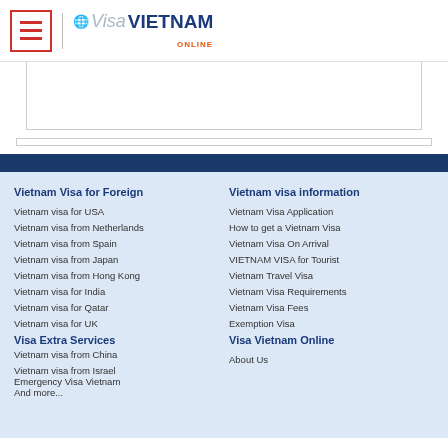[Figure (logo): Visa Vietnam Online logo with hamburger menu icon and globe graphic]
Vietnam Visa for Foreign
Vietnam visa for USA
Vietnam visa from Netherlands
Vietnam visa from Spain
Vietnam visa from Japan
Vietnam visa from Hong Kong
Vietnam visa for India
Vietnam visa for Qatar
Vietnam visa for UK
Visa Extra Services
Vietnam visa from China
Vietnam visa from Israel
Emergency Visa Vietnam
And more...
Vietnam visa information
Vietnam Visa Application
How to get a Vietnam Visa
Vietnam Visa On Arrival
VIETNAM VISA for Tourist
Vietnam Travel Visa
Vietnam Visa Requirements
Vietnam Visa Fees
Exemption Visa
Visa Vietnam Online
About Us